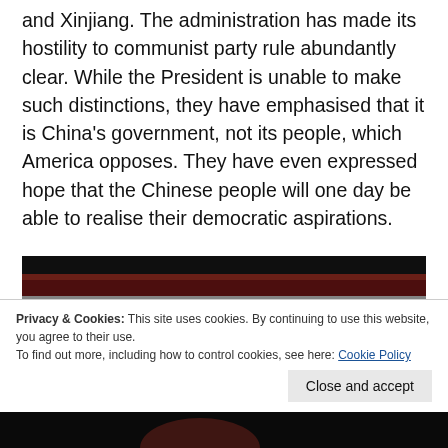and Xinjiang. The administration has made its hostility to communist party rule abundantly clear. While the President is unable to make such distinctions, they have emphasised that it is China's government, not its people, which America opposes. They have even expressed hope that the Chinese people will one day be able to realise their democratic aspirations.
[Figure (photo): Dark photograph of a man's face partially visible against a red and white striped background (resembling an American flag). The image is dimly lit.]
Privacy & Cookies: This site uses cookies. By continuing to use this website, you agree to their use.
To find out more, including how to control cookies, see here: Cookie Policy
Close and accept
[Figure (photo): Partial dark photograph visible at the bottom of the page.]